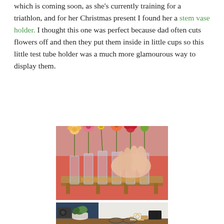which is coming soon, as she's currently training for a triathlon, and for her Christmas present I found her a stem vase holder. I thought this one was perfect because dad often cuts flowers off and then they put them inside in little cups so this little test tube holder was a much more glamourous way to display them.
[Figure (photo): A stem vase holder made of wood holding multiple glass test tube vases with colorful flowers (orange, pink, yellow, red). A hand in a red sleeve is placing a flower into one of the vases.]
[Figure (photo): A desk scene with a small potted plant, a camera, glasses, a watch, and a cork item on a wooden surface. Dark navy background on the left side.]